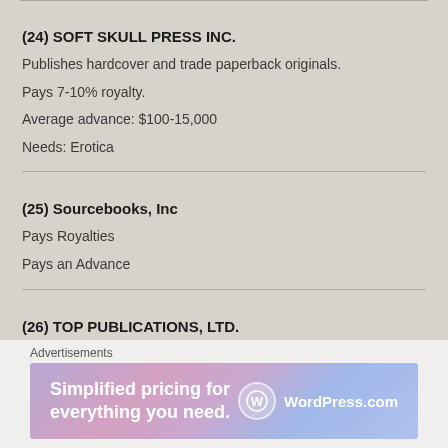(24) SOFT SKULL PRESS INC.
Publishes hardcover and trade paperback originals.
Pays 7-10% royalty.
Average advance: $100-15,000
Needs: Erotica
(25) Sourcebooks, Inc
Pays Royalties
Pays an Advance
(26) TOP PUBLICATIONS, LTD.
Advertisements
[Figure (other): WordPress.com advertisement banner: 'Simplified pricing for everything you need.' with WordPress.com logo]